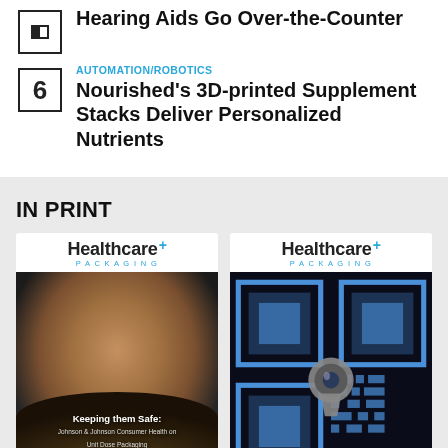Hearing Aids Go Over-the-Counter
AUTOMATION/ROBOTICS
Nourished's 3D-printed Supplement Stacks Deliver Personalized Nutrients
IN PRINT
[Figure (photo): Healthcare Packaging magazine cover featuring a sleeping baby in a brown bear suit, with text 'Keeping them Safe: Johnson & Johnson Consumer Health on Unit Dose Packaging']
[Figure (photo): Healthcare Packaging magazine cover featuring a QR code on a dark blue background with a keyhole/lock image in the center]